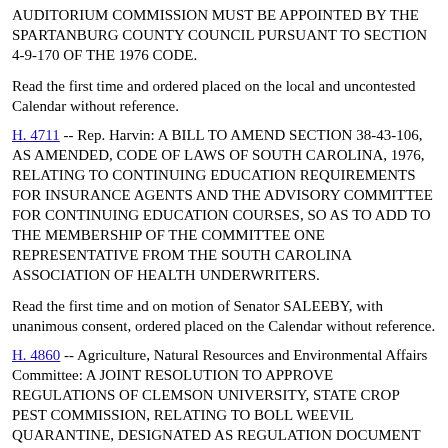AUDITORIUM COMMISSION MUST BE APPOINTED BY THE SPARTANBURG COUNTY COUNCIL PURSUANT TO SECTION 4-9-170 OF THE 1976 CODE.
Read the first time and ordered placed on the local and uncontested Calendar without reference.
H. 4711 -- Rep. Harvin: A BILL TO AMEND SECTION 38-43-106, AS AMENDED, CODE OF LAWS OF SOUTH CAROLINA, 1976, RELATING TO CONTINUING EDUCATION REQUIREMENTS FOR INSURANCE AGENTS AND THE ADVISORY COMMITTEE FOR CONTINUING EDUCATION COURSES, SO AS TO ADD TO THE MEMBERSHIP OF THE COMMITTEE ONE REPRESENTATIVE FROM THE SOUTH CAROLINA ASSOCIATION OF HEALTH UNDERWRITERS.
Read the first time and on motion of Senator SALEEBY, with unanimous consent, ordered placed on the Calendar without reference.
H. 4860 -- Agriculture, Natural Resources and Environmental Affairs Committee: A JOINT RESOLUTION TO APPROVE REGULATIONS OF CLEMSON UNIVERSITY, STATE CROP PEST COMMISSION, RELATING TO BOLL WEEVIL QUARANTINE, DESIGNATED AS REGULATION DOCUMENT NUMBER 1719, PURSUANT TO THE